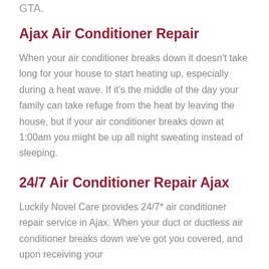GTA.
Ajax Air Conditioner Repair
When your air conditioner breaks down it doesn't take long for your house to start heating up, especially during a heat wave. If it's the middle of the day your family can take refuge from the heat by leaving the house, but if your air conditioner breaks down at 1:00am you might be up all night sweating instead of sleeping.
24/7 Air Conditioner Repair Ajax
Luckily Novel Care provides 24/7* air conditioner repair service in Ajax. When your duct or ductless air conditioner breaks down we've got you covered, and upon receiving your